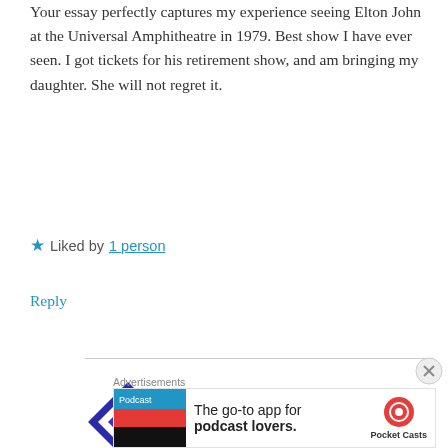Your essay perfectly captures my experience seeing Elton John at the Universal Amphitheatre in 1979. Best show I have ever seen. I got tickets for his retirement show, and am bringing my daughter. She will not regret it.
Liked by 1 person
Reply
kcorsini
MARCH 1, 2018 AT 12:15 AM
Thank you so much for reading! I really
[Figure (illustration): Blue and white diamond-pattern checkered circular avatar for kcorsini]
[Figure (screenshot): Advertisements banner with Pocket Casts app advertisement: 'The go-to app for podcast lovers.']